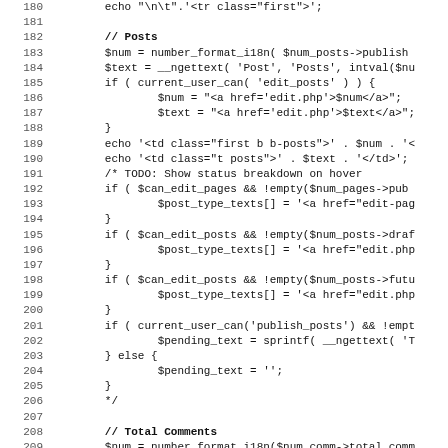Source code listing, lines 180-211, PHP code
180: echo "\n\t".'<tr class="first">';
181: (blank)
182: // Posts
183: $num = number_format_i18n( $num_posts->publish
184: $text = __ngettext( 'Post', 'Posts', intval($nu
185: if ( current_user_can( 'edit_posts' ) ) {
186:     $num = "<a href='edit.php'>$num</a>";
187:     $text = "<a href='edit.php'>$text</a>";
188: }
189: echo '<td class="first b b-posts">' . $num . '<
190: echo '<td class="t posts">' . $text . '</td>';
191: /* TODO: Show status breakdown on hover
192: if ( $can_edit_pages && !empty($num_pages->pub
193:     $post_type_texts[] = '<a href="edit-pag
194: }
195: if ( $can_edit_posts && !empty($num_posts->draf
196:     $post_type_texts[] = '<a href="edit.php
197: }
198: if ( $can_edit_posts && !empty($num_posts->futu
199:     $post_type_texts[] = '<a href="edit.php
200: }
201: if ( current_user_can('publish_posts') && !empt
202:     $pending_text = sprintf( __ngettext( 'T
203: } else {
204:     $pending_text = '';
205: }
206: */
207: (blank)
208: // Total Comments
209: $num = number_format_i18n($num_comm->total_comm
210: $text = __ngettext( 'Comment', 'Comments', $num
211: if ( current_user_can( 'moderate_comments' ) )